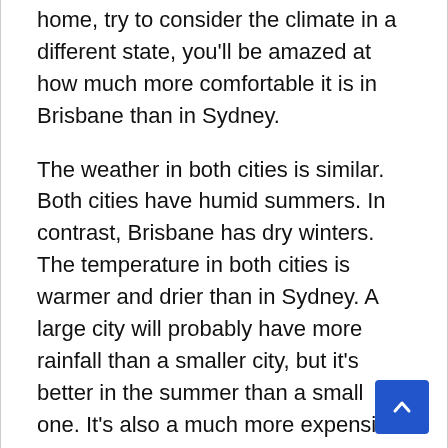home, try to consider the climate in a different state, you'll be amazed at how much more comfortable it is in Brisbane than in Sydney.
The weather in both cities is similar. Both cities have humid summers. In contrast, Brisbane has dry winters. The temperature in both cities is warmer and drier than in Sydney. A large city will probably have more rainfall than a smaller city, but it's better in the summer than a small one. It's also a much more expensive climate than a small one.
In addition, the weather in Brisbane is much more pleasant than that of Sydney. Its winters are less humid than those of Sydney. While it does rain more frequently in Sydney, the city is drier in Brisbane. The weather in Brisbane is